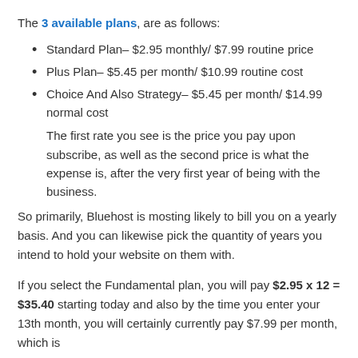The 3 available plans, are as follows:
Standard Plan– $2.95 monthly/ $7.99 routine price
Plus Plan– $5.45 per month/ $10.99 routine cost
Choice And Also Strategy– $5.45 per month/ $14.99 normal cost
The first rate you see is the price you pay upon subscribe, as well as the second price is what the expense is, after the very first year of being with the business.
So primarily, Bluehost is mosting likely to bill you on a yearly basis. And you can likewise pick the quantity of years you intend to hold your website on them with.
If you select the Fundamental plan, you will pay $2.95 x 12 = $35.40 starting today and also by the time you enter your 13th month, you will certainly currently pay $7.99 per month, which is